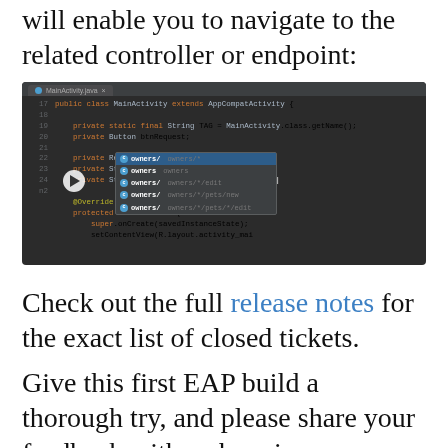will enable you to navigate to the related controller or endpoint:
[Figure (screenshot): IDE screenshot showing Java code in MainActivity.java with autocomplete suggestions for URL endpoints including owners/*, owners, owners/*/edit, owners/*/pets/new, owners/*/pets/*/edit]
Check out the full release notes for the exact list of closed tickets.
Give this first EAP build a thorough try, and please share your feedback with us here in